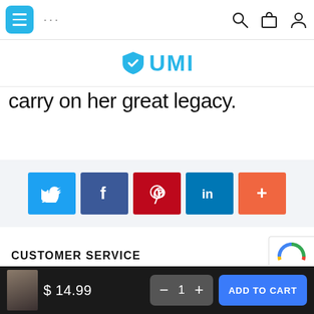UMI website navigation bar with menu, dots, search, bag, user icons
[Figure (logo): UMI logo with blue shield icon and cyan UMI text]
carry on her great legacy.
[Figure (infographic): Social share buttons row: Twitter (blue), Facebook (dark blue), Pinterest (red), LinkedIn (blue), More (orange+)]
CUSTOMER SERVICE
$ 14.99  −  1  +  ADD TO CART